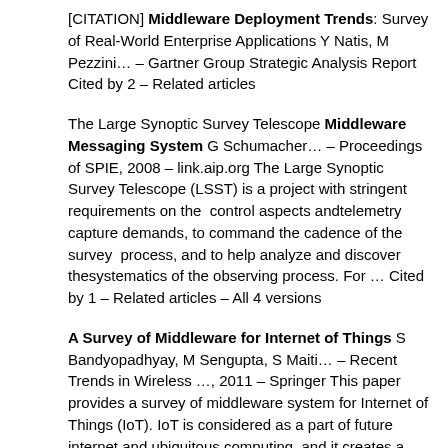[CITATION] Middleware Deployment Trends: Survey of Real-World Enterprise Applications Y Natis, M Pezzini… – Gartner Group Strategic Analysis Report Cited by 2 – Related articles
The Large Synoptic Survey Telescope Middleware Messaging System G Schumacher… – Proceedings of SPIE, 2008 – link.aip.org The Large Synoptic Survey Telescope (LSST) is a project with stringent requirements on the control aspects andtelemetry capture demands, to command the cadence of the survey process, and to help analyze and discover thesystematics of the observing process. For … Cited by 1 – Related articles – All 4 versions
A Survey of Middleware for Internet of Things S Bandyopadhyay, M Sengupta, S Maiti… – Recent Trends in Wireless …, 2011 – Springer This paper provides a survey of middleware system for Internet of Things (IoT). IoT is considered as a part of future internet and ubiquitous computing, and it creates a true ubiquitous or smart environment. The middleware for IoT acts as a bond joining the … Cited by 1 – Related articles – All 2 versions
[CITATION] A Survey of Context Aware and Service Discovery